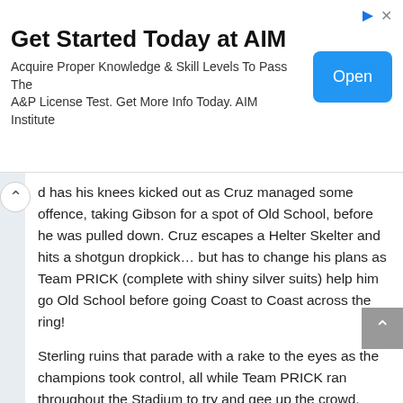[Figure (other): Advertisement banner for AIM Institute with title 'Get Started Today at AIM', subtitle text, and an Open button]
d has his knees kicked out as Cruz managed some offence, taking Gibson for a spot of Old School, before he was pulled down. Cruz escapes a Helter Skelter and hits a shotgun dropkick… but has to change his plans as Team PRICK (complete with shiny silver suits) help him go Old School before going Coast to Coast across the ring!
Sterling ruins that parade with a rake to the eyes as the champions took control, all while Team PRICK ran throughout the Stadium to try and gee up the crowd. Cruz manages to get free and decides to head under the ring for back-up… but Sterling cuts him off and stops Angel from getting what sounded like a Samurai sword. Back in the ring, Gibson tries to lock in the Shankly Gates as the crowd chanted "Brexit" (c'mon, that's like shooting fish in a barrel).